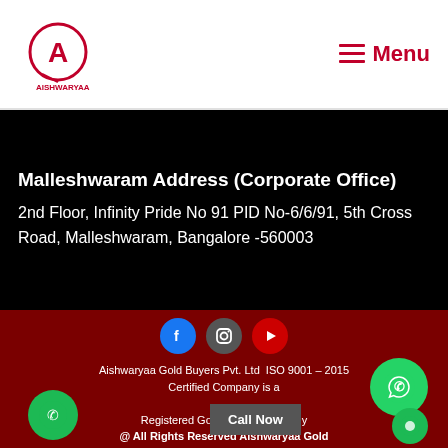Aishwaryaa logo | Menu
Malleshwaram Address (Corporate Office)
2nd Floor, Infinity Pride No 91 PID No-6/6/91, 5th Cross Road, Malleshwaram, Bangalore -560003
[Figure (logo): Social media icons: Facebook, Instagram, YouTube]
Aishwaryaa Gold Buyers Pvt. Ltd  ISO 9001 – 2015 Certified Company is a Registered Gold Buying Company @ All Rights Reserved Aishwaryaa Gold Company